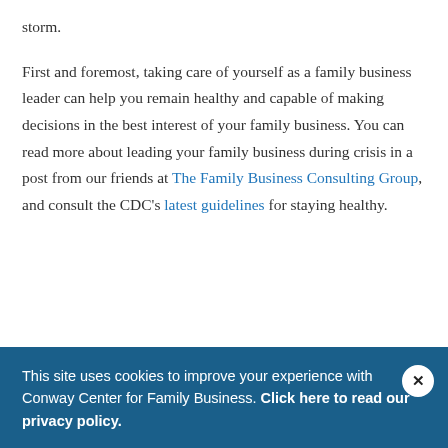storm. First and foremost, taking care of yourself as a family business leader can help you remain healthy and capable of making decisions in the best interest of your family business. You can read more about leading your family business during crisis in a post from our friends at The Family Business Consulting Group, and consult the CDC's latest guidelines for staying healthy.
In this post, find resources applicable to your family business about:
This site uses cookies to improve your experience with Conway Center for Family Business. Click here to read our privacy policy.